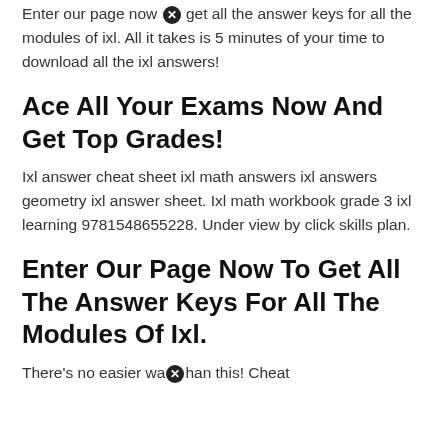Enter our page now to get all the answer keys for all the modules of ixl. All it takes is 5 minutes of your time to download all the ixl answers!
Ace All Your Exams Now And Get Top Grades!
Ixl answer cheat sheet ixl math answers ixl answers geometry ixl answer sheet. Ixl math workbook grade 3 ixl learning 9781548655228. Under view by click skills plan.
Enter Our Page Now To Get All The Answer Keys For All The Modules Of Ixl.
There's no easier way than this! Cheat